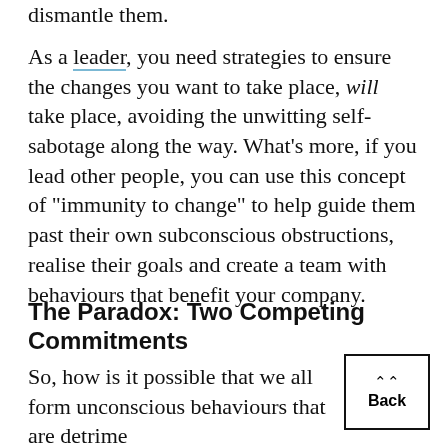dismantle them.
As a leader, you need strategies to ensure the changes you want to take place, will take place, avoiding the unwitting self-sabotage along the way. What's more, if you lead other people, you can use this concept of “immunity to change” to help guide them past their own subconscious obstructions, realise their goals and create a team with behaviours that benefit your company.
The Paradox: Two Competing Commitments
So, how is it possible that we all form unconscious behaviours that are detrimental to our goals?